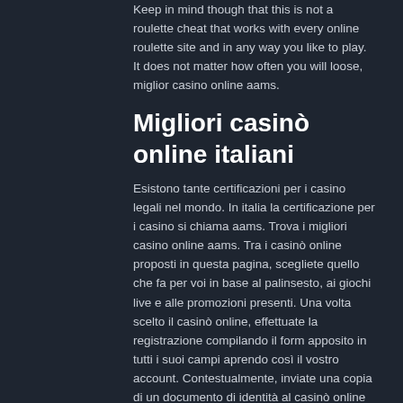Keep in mind though that this is not a roulette cheat that works with every online roulette site and in any way you like to play. It does not matter how often you will loose, miglior casino online aams.
Migliori casinò online italiani
Esistono tante certificazioni per i casino legali nel mondo. In italia la certificazione per i casino si chiama aams. Trova i migliori casino online aams. Tra i casinò online proposti in questa pagina, scegliete quello che fa per voi in base al palinsesto, ai giochi live e alle promozioni presenti. Una volta scelto il casinò online, effettuate la registrazione compilando il form apposito in tutti i suoi campi aprendo così il vostro account. Contestualmente, inviate una copia di un documento di identità al casinò online per procedere alla verifica dei dati e certificate e